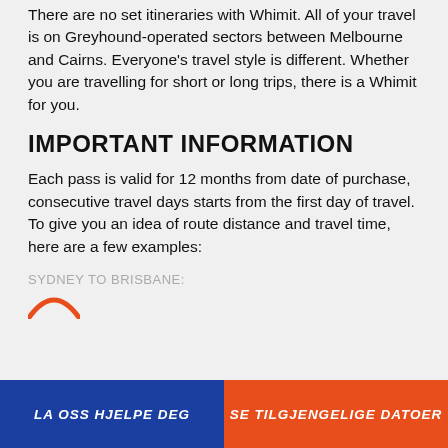There are no set itineraries with Whimit. All of your travel is on Greyhound-operated sectors between Melbourne and Cairns. Everyone's travel style is different. Whether you are travelling for short or long trips, there is a Whimit for you.
IMPORTANT INFORMATION
Each pass is valid for 12 months from date of purchase, consecutive travel days starts from the first day of travel. To give you an idea of route distance and travel time, here are a few examples:
SYDNEY TO BRISBANE:
LA OSS HJELPE DEG
SE TILGJENGELIGE DATOER